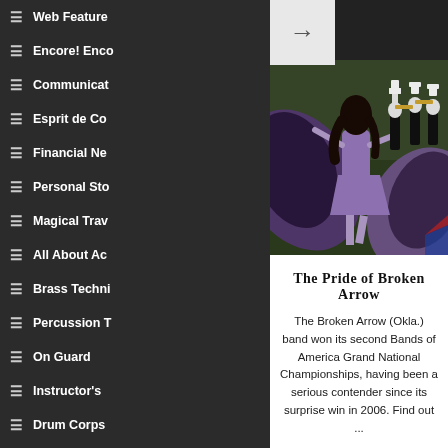Web Feature
Encore! Encore
Communicat
Esprit de Co
Financial Ne
Personal Sto
Magical Trav
All About Ac
Brass Techn
Percussion T
On Guard
Instructor's
Drum Corps
[Figure (photo): Marching band performance with color guard member in purple dress spinning flags, band members in black and white uniforms in background]
The Pride of Broken Arrow
The Broken Arrow (Okla.) band won its second Bands of America Grand National Championships, having been a serious contender since its surprise win in 2006. Find out ...